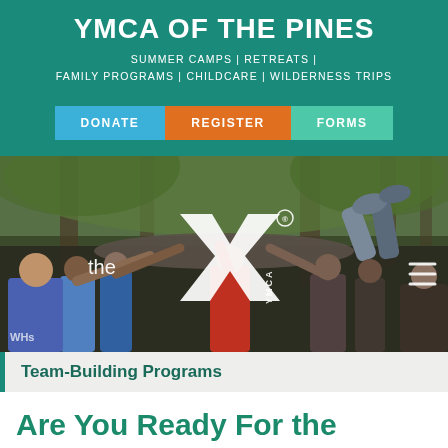YMCA OF THE PINES
SUMMER CAMPS | RETREATS | FAMILY PROGRAMS | CHILDCARE | WILDERNESS TRIPS
DONATE | REGISTER | FORMS
[Figure (photo): Group of young people lifting another person overhead in a wooded outdoor setting, with YMCA logo overlay showing white Y symbol and 'the YMCA' text]
Team-Building Programs
Are You Ready For the Challenge?